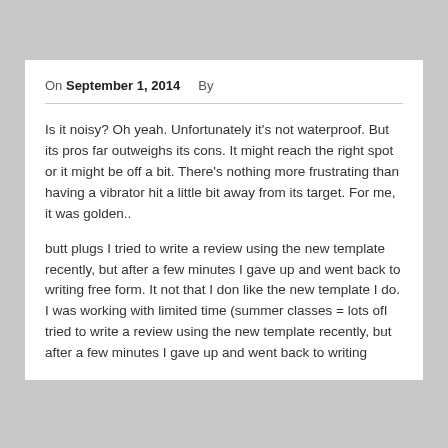On September 1, 2014   By
Is it noisy? Oh yeah. Unfortunately it's not waterproof. But its pros far outweighs its cons. It might reach the right spot or it might be off a bit. There's nothing more frustrating than having a vibrator hit a little bit away from its target. For me, it was golden..
butt plugs I tried to write a review using the new template recently, but after a few minutes I gave up and went back to writing free form. It not that I don like the new template I do. I was working with limited time (summer classes = lots ofI tried to write a review using the new template recently, but after a few minutes I gave up and went back to writing